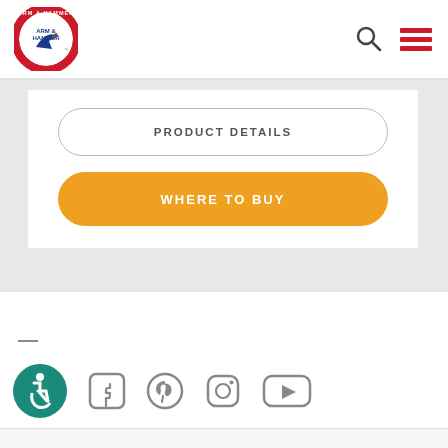[Figure (logo): Arm & Hammer circular logo with red border, white background, blue arm holding hammer, brand name around circle]
[Figure (infographic): Search icon (magnifying glass) and hamburger menu icon (three red horizontal bars) in the navigation header]
PRODUCT DETAILS
WHERE TO BUY
[Figure (infographic): Social media icons row: accessibility icon (teal circle with wheelchair symbol), Facebook icon, Pinterest icon, Instagram icon, YouTube icon — all in gray except accessibility which is teal]